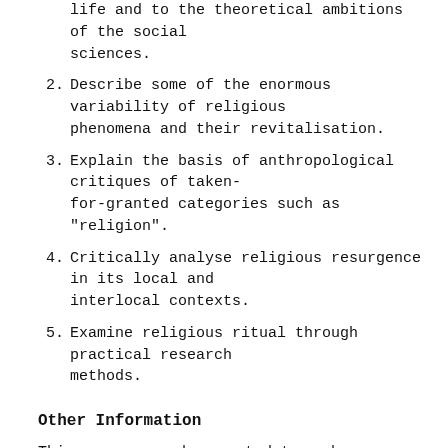life and to the theoretical ambitions of the social sciences.
2. Describe some of the enormous variability of religious phenomena and their revitalisation.
3. Explain the basis of anthropological critiques of taken-for-granted categories such as "religion".
4. Critically analyse religious resurgence in its local and interlocal contexts.
5. Examine religious ritual through practical research methods.
Other Information
This course may be counted towards an Anthropology or Religious Studies major.